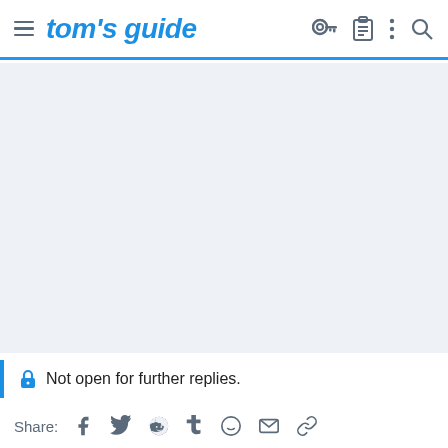tom's guide
[Figure (other): Large gray advertisement or content placeholder area]
Not open for further replies.
Share: [Facebook] [Twitter] [Reddit] [Tumblr] [WhatsApp] [Email] [Link]
[Figure (other): Nike advertisement banner: Nike. Just Do It. Inspiring the world's athletes, Nike delivers the deals. www.nike.com]